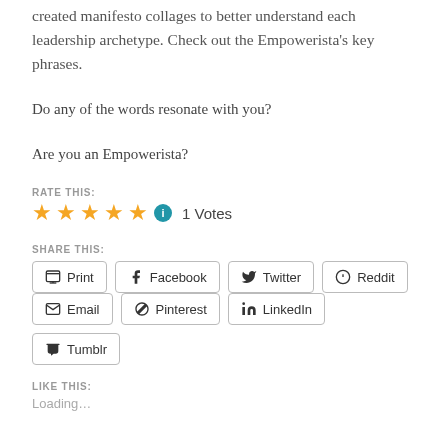created manifesto collages to better understand each leadership archetype. Check out the Empowerista's key phrases.
Do any of the words resonate with you?
Are you an Empowerista?
RATE THIS:
[Figure (other): Five gold stars rating with info icon and '1 Votes' text]
SHARE THIS:
[Figure (other): Share buttons: Print, Facebook, Twitter, Reddit, Email, Pinterest, LinkedIn, Tumblr]
LIKE THIS:
Loading...